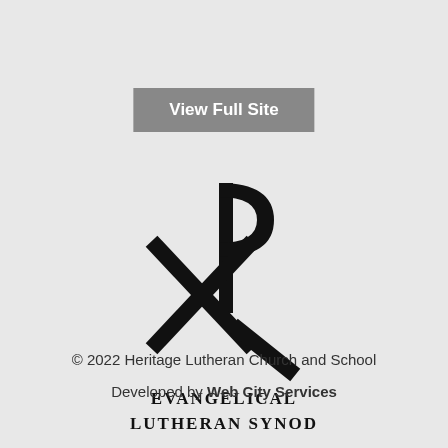View Full Site
[Figure (logo): Chi Rho (Christogram) symbol above the text EVANGELICAL LUTHERAN SYNOD]
© 2022 Heritage Lutheran Church and School
Developed by Web City Services